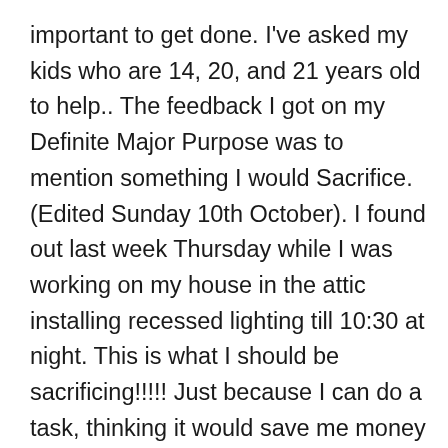important to get done. I've asked my kids who are 14, 20, and 21 years old to help.. The feedback I got on my Definite Major Purpose was to mention something I would Sacrifice. (Edited Sunday 10th October). I found out last week Thursday while I was working on my house in the attic installing recessed lighting till 10:30 at night. This is what I should be sacrificing!!!!! Just because I can do a task, thinking it would save me money doesn't mean I should be the one doing the task. Even though it is important to get done. What I should be 'FOCUSING' on, is what I wrote in my Dharma. No wonder I am stuck. My subconscious has a blueprint programmed into my mind from when I was a youngster helping my father work on our house and the skilled tradesman I once was when I was in my 20's. I am no longer those Identities. I am a Business man in the